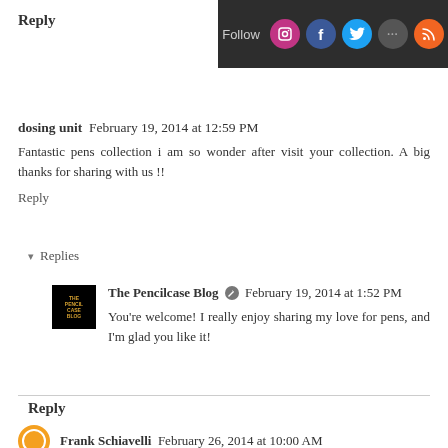Reply
[Figure (screenshot): Dark header bar with Follow text and social media icons: Instagram, Facebook, Twitter, Flickr, RSS]
dosing unit  February 19, 2014 at 12:59 PM
Fantastic pens collection i am so wonder after visit your collection. A big thanks for sharing with us !!
Reply
Replies
The Pencilcase Blog  February 19, 2014 at 1:52 PM
You're welcome! I really enjoy sharing my love for pens, and I'm glad you like it!
Reply
Frank Schiavelli  February 26, 2014 at 10:00 AM